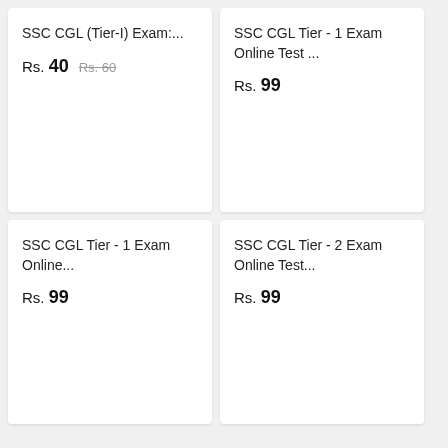SSC CGL (Tier-I) Exam:...
Rs. 40  Rs. 60
SSC CGL Tier - 1 Exam Online Test ...
Rs. 99
SSC CGL Tier - 1 Exam Online...
Rs. 99
SSC CGL Tier - 2 Exam Online Test...
Rs. 99